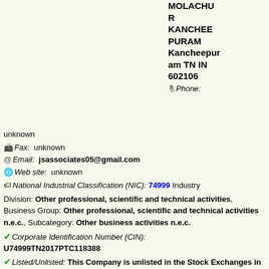MOLACHUR KANCHEEPURAM Kancheepuram TN IN 602106 Phone:
unknown
Fax: unknown
Email: jsassociates05@gmail.com
Web site: unknown
National Industrial Classification (NIC): 74999 Industry
Division: Other professional, scientific and technical activities, Business Group: Other professional, scientific and technical activities n.e.c., Subcategory: Other business activities n.e.c.
Corporate Identification Number (CIN): U74999TN2017PTC118388
Listed/Unlisted: This Company is unlisted in the Stock Exchanges in India
Ownership Identifier: Non-Government Private Limited Company
RoC Registration Number: 118388
Company listing Status: Active